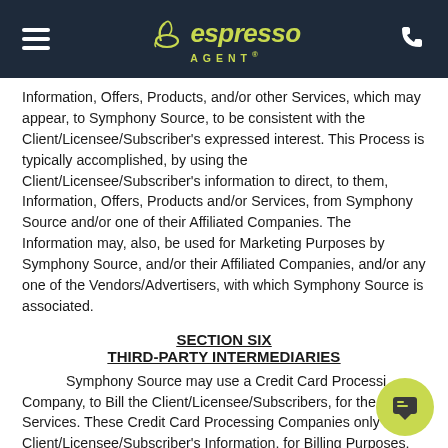espresso AGENT
Information, Offers, Products, and/or other Services, which may appear, to Symphony Source, to be consistent with the Client/Licensee/Subscriber's expressed interest. This Process is typically accomplished, by using the Client/Licensee/Subscriber's information to direct, to them, Information, Offers, Products and/or Services, from Symphony Source and/or one of their Affiliated Companies. The Information may, also, be used for Marketing Purposes by Symphony Source, and/or their Affiliated Companies, and/or any one of the Vendors/Advertisers, with which Symphony Source is associated.
SECTION SIX
THIRD-PARTY INTERMEDIARIES
Symphony Source may use a Credit Card Processing Company, to Bill the Client/Licensee/Subscribers, for the Services. These Credit Card Processing Companies only use Client/Licensee/Subscriber's Information, for Billing Purposes,